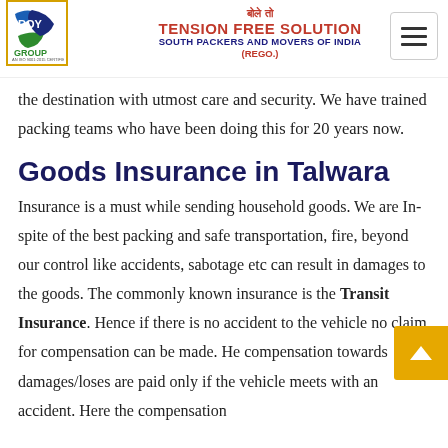बोले तो TENSION FREE SOLUTION SOUTH PACKERS AND MOVERS OF INDIA (REGO.) — Roy Group
the destination with utmost care and security. We have trained packing teams who have been doing this for 20 years now.
Goods Insurance in Talwara
Insurance is a must while sending household goods. We are In-spite of the best packing and safe transportation, fire, beyond our control like accidents, sabotage etc can result in damages to the goods. The commonly known insurance is the Transit Insurance. Hence if there is no accident to the vehicle no claim for compensation can be made. Hence compensation towards damages/loses are paid only if the vehicle meets with an accident. Here the compensation